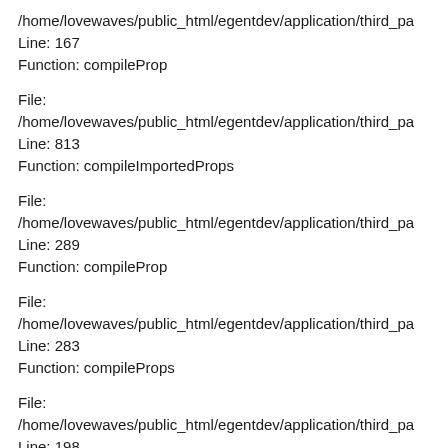/home/lovewaves/public_html/egentdev/application/third_pa
Line: 167
Function: compileProp
File:
/home/lovewaves/public_html/egentdev/application/third_pa
Line: 813
Function: compileImportedProps
File:
/home/lovewaves/public_html/egentdev/application/third_pa
Line: 289
Function: compileProp
File:
/home/lovewaves/public_html/egentdev/application/third_pa
Line: 283
Function: compileProps
File:
/home/lovewaves/public_html/egentdev/application/third_pa
Line: 198
Function: compileRoot
File: